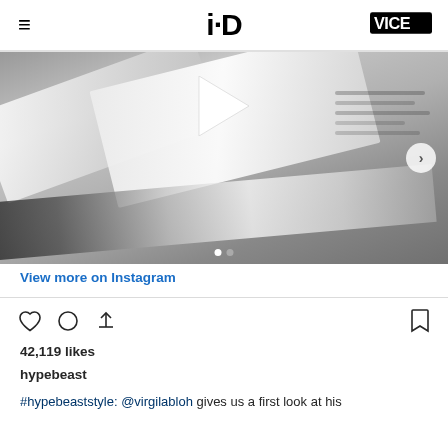i-D | VICE
[Figure (photo): Blurred black and white photo of pages/papers, likely a book or sketchbook, with a play button overlay and carousel navigation arrows. Two carousel indicator dots visible at bottom.]
View more on Instagram
42,119 likes
hypebeast
#hypebeaststyle: @virgilabloh gives us a first look at his